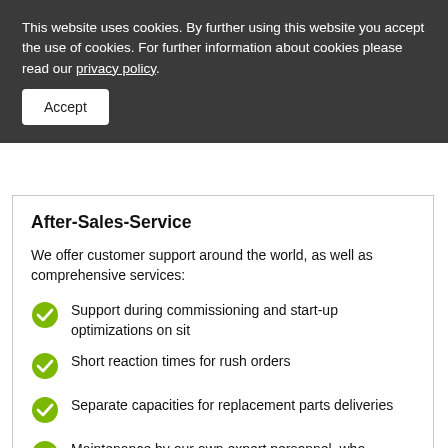This website uses cookies. By further using this website you accept the use of cookies. For further information about cookies please read our privacy policy.
Accept
After-Sales-Service
We offer customer support around the world, as well as comprehensive services:
Support during commissioning and start-up optimizations on sit
Short reaction times for rush orders
Separate capacities for replacement parts deliveries
Maintenance by our own expert personnel, who